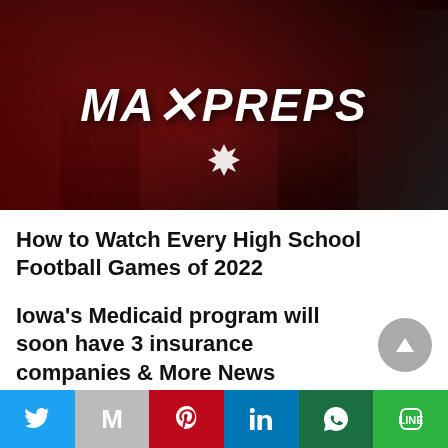[Figure (logo): MaxPreps logo on dark red sports-themed banner background with athletes silhouettes]
How to Watch Every High School Football Games of 2022
Iowa's Medicaid program will soon have 3 insurance companies & More News
[Figure (infographic): Social media share buttons bar: Twitter (blue), Gmail (gray), Pinterest (red), LinkedIn (blue), WhatsApp (green), Line (green)]